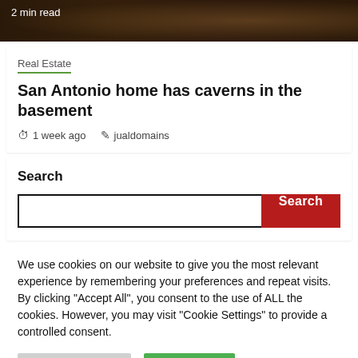[Figure (photo): Dark brown cave/cavern photo with text overlay '2 min read']
Real Estate
San Antonio home has caverns in the basement
1 week ago   jualdomains
Search
[Figure (screenshot): Search input box with red Search button]
We use cookies on our website to give you the most relevant experience by remembering your preferences and repeat visits. By clicking "Accept All", you consent to the use of ALL the cookies. However, you may visit "Cookie Settings" to provide a controlled consent.
Cookie Settings   Accept All